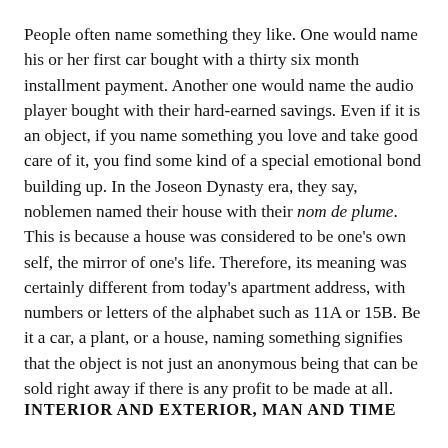People often name something they like. One would name his or her first car bought with a thirty six month installment payment. Another one would name the audio player bought with their hard-earned savings. Even if it is an object, if you name something you love and take good care of it, you find some kind of a special emotional bond building up. In the Joseon Dynasty era, they say, noblemen named their house with their nom de plume. This is because a house was considered to be one's own self, the mirror of one's life. Therefore, its meaning was certainly different from today's apartment address, with numbers or letters of the alphabet such as 11A or 15B. Be it a car, a plant, or a house, naming something signifies that the object is not just an anonymous being that can be sold right away if there is any profit to be made at all.
INTERIOR AND EXTERIOR, MAN AND TIME